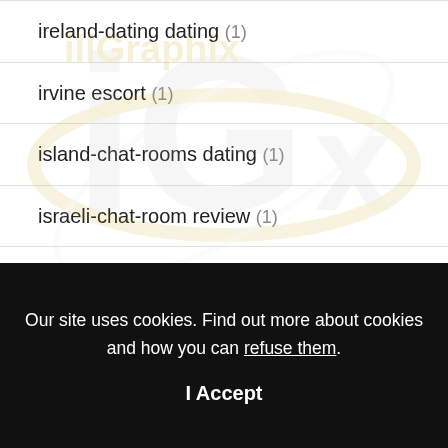ireland-dating dating (1)
irvine escort (1)
island-chat-rooms dating (1)
israeli-chat-room review (1)
jack'd vs grindr compared (1)
Jackd gay a niort (1)
Our site uses cookies. Find out more about cookies and how you can refuse them.
I Accept